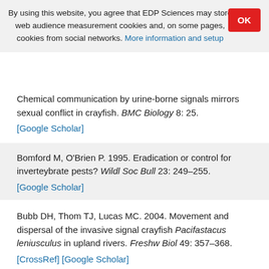By using this website, you agree that EDP Sciences may store web audience measurement cookies and, on some pages, cookies from social networks. More information and setup
Chemical communication by urine-borne signals mirrors sexual conflict in crayfish. BMC Biology 8: 25. [Google Scholar]
Bomford M, O'Brien P. 1995. Eradication or control for inverteybrate pests? Wildl Soc Bull 23: 249–255. [Google Scholar]
Bubb DH, Thom TJ, Lucas MC. 2004. Movement and dispersal of the invasive signal crayfish Pacifastacus leniusculus in upland rivers. Freshw Biol 49: 357–368. [CrossRef] [Google Scholar]
Byrne C, Lynch J, Bracken J. 1999. A sampling strategy